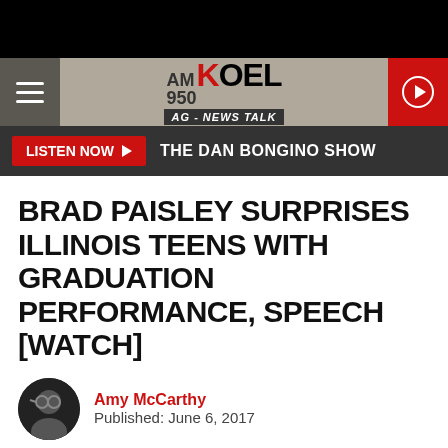AM 950 KOEL AG-NEWS TALK
LISTEN NOW ▶  THE DAN BONGINO SHOW
BRAD PAISLEY SURPRISES ILLINOIS TEENS WITH GRADUATION PERFORMANCE, SPEECH [WATCH]
Amy McCarthy
Published: June 6, 2017
Barrington High School Graduation